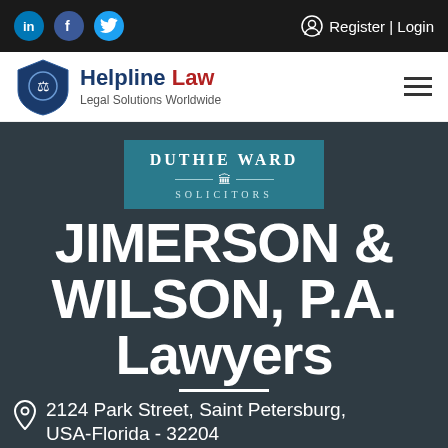Social icons: LinkedIn, Facebook, Twitter | Register | Login
[Figure (logo): Helpline Law logo with shield icon and text 'Legal Solutions Worldwide']
[Figure (logo): Duthie Ward Solicitors logo in teal box]
JIMERSON & WILSON, P.A. Lawyers
2124 Park Street, Saint Petersburg, USA-Florida - 32204